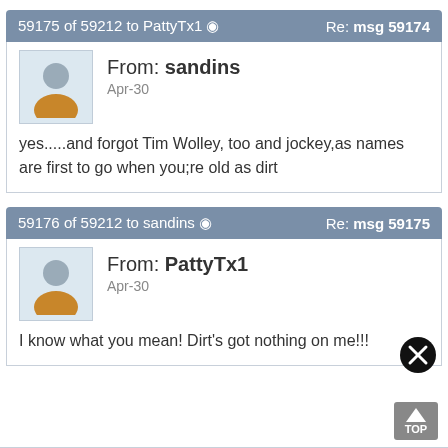59175 of 59212 to PattyTx1 ✓  Re: msg 59174
From: sandins
Apr-30
yes.....and forgot Tim Wolley, too and jockey,as names are first to go when you;re old as dirt
59176 of 59212 to sandins ✓  Re: msg 59175
From: PattyTx1
Apr-30
I know what you mean!  Dirt's got nothing on me!!!